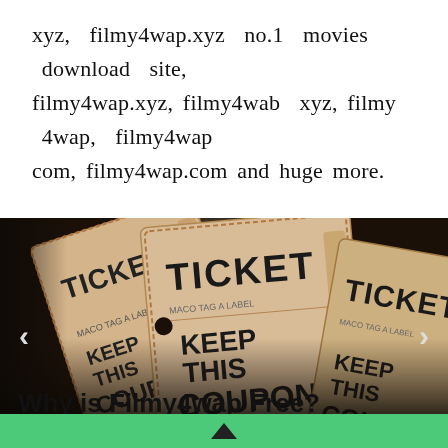xyz, filmy4wap.xyz no.1 movies download site, filmy4wap.xyz, filmy4wab xyz, filmy 4wap, filmy4wap com, filmy4wap.com and huge more.
[Figure (photo): A dark close-up photo of multiple vintage movie/event tickets fanned out, showing 'TICKET' and 'KEEP THIS COUPON' printed on them in bold lettering, with serial number 817205 visible.]
Why is Filmy4wap Free?